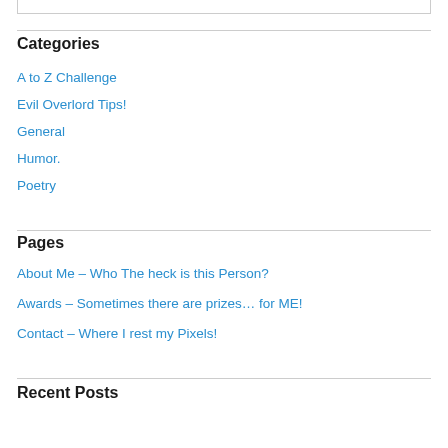Categories
A to Z Challenge
Evil Overlord Tips!
General
Humor.
Poetry
Pages
About Me – Who The heck is this Person?
Awards – Sometimes there are prizes… for ME!
Contact – Where I rest my Pixels!
Recent Posts